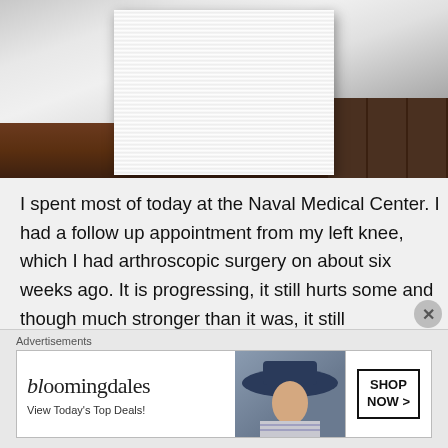[Figure (photo): A large stack of white papers/documents piled on a wooden floor, photographed from above at an angle. Dark wood floor visible in background.]
I spent most of today at the Naval Medical Center. I had a follow up appointment from my left knee, which I had arthroscopic surgery on about six weeks ago. It is progressing, it still hurts some and though much stronger than it was, it still occasionally catches, but it is doing better than the right knee which I will have my follow up for
Advertisements
[Figure (screenshot): Bloomingdale's advertisement banner. Shows 'bloomingdales' logo with tagline 'View Today's Top Deals!' and 'SHOP NOW >' button. Features image of woman in large brimmed hat.]